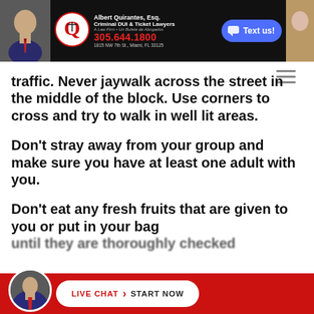[Figure (infographic): Law firm banner ad for Albert Quirantes, Esq. Criminal DUI & Ticket Lawyers. Shows phone number 305.644.1800, address 1815 NW 7th St., Miami, FL 33125, and a 'Text us!' button.]
traffic. Never jaywalk across the street in the middle of the block. Use corners to cross and try to walk in well lit areas.
Don't stray away from your group and make sure you have at least one adult with you.
Don't eat any fresh fruits that are given to you or put in your bag until they are thoroughly checked